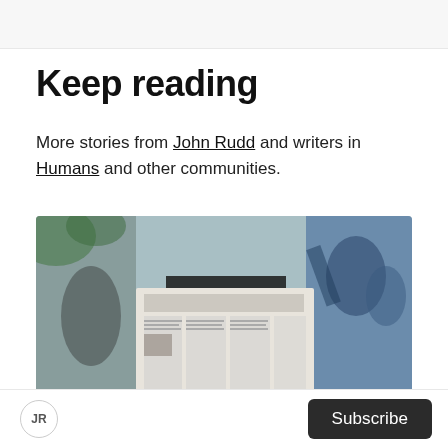Keep reading
More stories from John Rudd and writers in Humans and other communities.
[Figure (photo): Person holding up a newspaper in front of their face, with a blurred street/mural background]
JR   Subscribe